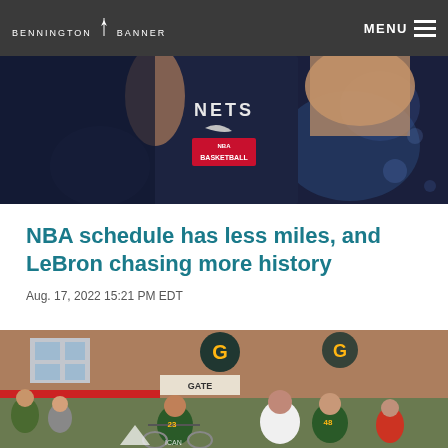BENNINGTON BANNER
[Figure (photo): Basketball player in dark NBA jersey with Nike logo and 'NBA Basketball' text visible, flexing arm]
NBA schedule has less miles, and LeBron chasing more history
Aug. 17, 2022 15:21 PM EDT
[Figure (photo): Green Bay Packers event scene with fans and players on bikes, Lambeau Field in background with Packers G logo visible]